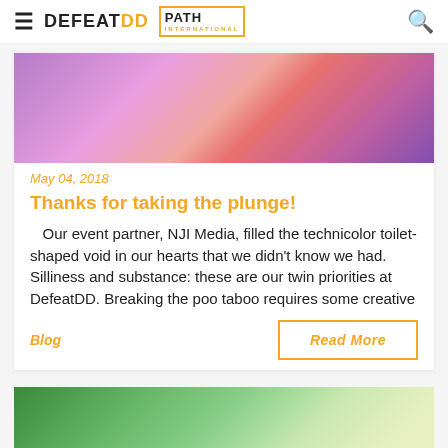DEFEATDD PATH
[Figure (photo): Colorful photo of people at an event with purple, pink, and orange hues]
May 04, 2018
Thanks for taking the plunge!
Our event partner, NJI Media, filled the technicolor toilet-shaped void in our hearts that we didn't know we had.  Silliness and substance: these are our twin priorities at DefeatDD. Breaking the poo taboo requires some creative
Blog
Read More
[Figure (photo): Photo of a woman outdoors with greenery in the background]